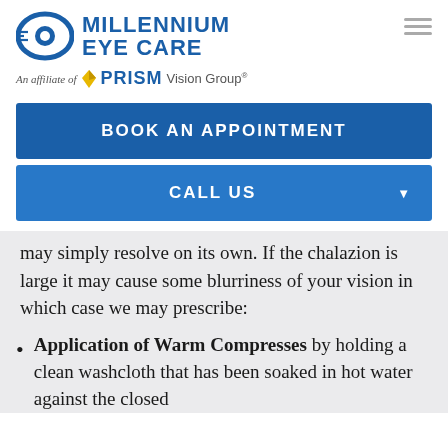[Figure (logo): Millennium Eye Care logo with blue eye icon and PRISM Vision Group affiliate text]
BOOK AN APPOINTMENT
CALL US
may simply resolve on its own. If the chalazion is large it may cause some blurriness of your vision in which case we may prescribe:
Application of Warm Compresses by holding a clean washcloth that has been soaked in hot water against the closed